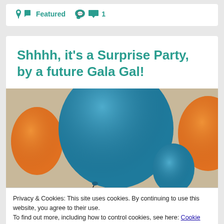Featured  1
Shhhh, it's a Surprise Party, by a future Gala Gal!
[Figure (photo): Photo of orange and blue/teal balloons against a beige wall background]
Privacy & Cookies: This site uses cookies. By continuing to use this website, you agree to their use.
To find out more, including how to control cookies, see here: Cookie Policy
Close and accept